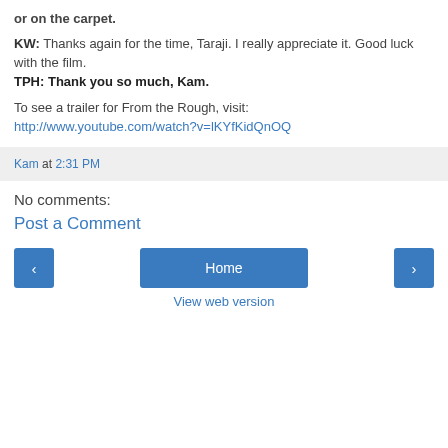or on the carpet.
KW: Thanks again for the time, Taraji. I really appreciate it. Good luck with the film.
TPH: Thank you so much, Kam.
To see a trailer for From the Rough, visit:
http://www.youtube.com/watch?v=lKYfKidQnOQ
Kam at 2:31 PM
No comments:
Post a Comment
Home
View web version